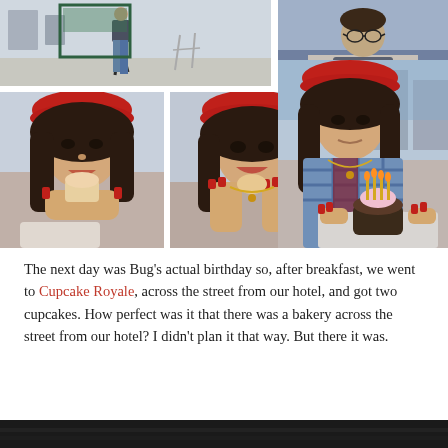[Figure (photo): Photo collage of a young woman wearing a red beret eating cupcakes at Cupcake Royale; top row shows street scene and person at table; bottom row shows close-ups of woman eating and a birthday cupcake with candles on a table outdoors]
The next day was Bug's actual birthday so, after breakfast, we went to Cupcake Royale, across the street from our hotel, and got two cupcakes. How perfect was it that there was a bakery across the street from our hotel? I didn't plan it that way. But there it was.
[Figure (photo): Bottom strip of a photo, dark/nighttime scene, partially cropped]